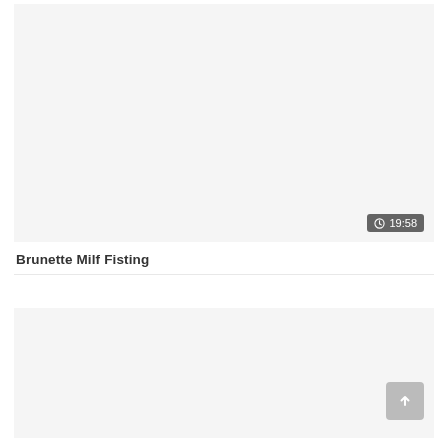[Figure (screenshot): Video thumbnail placeholder, light gray background, with duration badge showing clock icon and '19:58']
Brunette Milf Fisting
[Figure (screenshot): Second video thumbnail placeholder, light gray background, with scroll-to-top button in lower right corner]